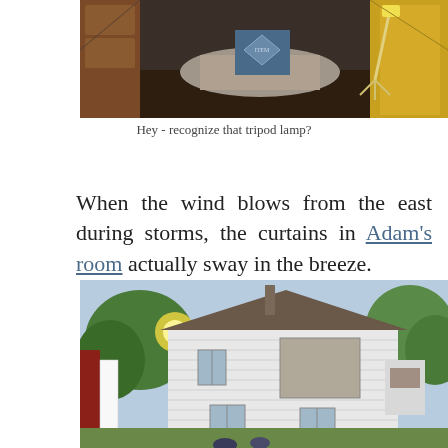[Figure (photo): Interior demolition/construction scene with debris, boxes, and a tripod lamp visible in the background]
Hey - recognize that tripod lamp?
When the wind blows from the east during storms, the curtains in Adam's room actually sway in the breeze.
[Figure (photo): Exterior view of an old two-story white clapboard farmhouse with a boarded-up window, surrounded by trees]